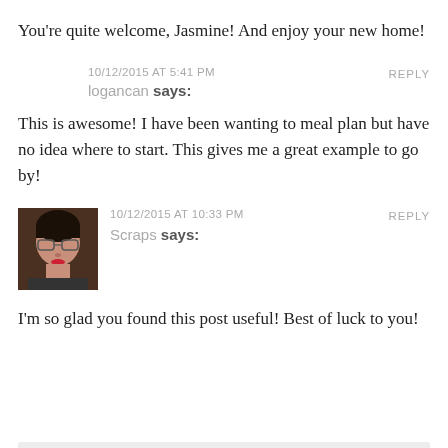You're quite welcome, Jasmine! And enjoy your new home!
10/12/2015 AT 5:41 PM
REPLY
logancan says:
This is awesome! I have been wanting to meal plan but have no idea where to start. This gives me a great example to go by!
[Figure (photo): Avatar photo of Scraps, a woman with glasses]
10/12/2015 AT 10:33 PM
REPLY
Scraps says:
I'm so glad you found this post useful! Best of luck to you!